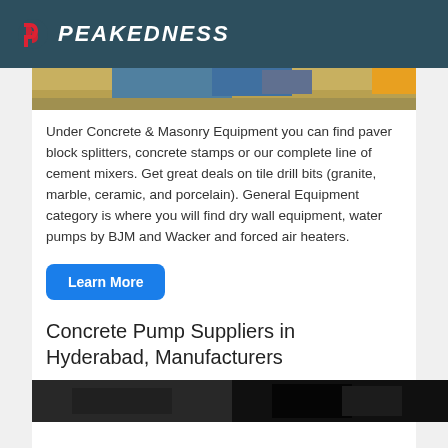PEAKEDNESS
[Figure (photo): Partial view of construction equipment/concrete batching plant on sandy ground, top portion visible]
Under Concrete & Masonry Equipment you can find paver block splitters, concrete stamps or our complete line of cement mixers. Get great deals on tile drill bits (granite, marble, ceramic, and porcelain). General Equipment category is where you will find dry wall equipment, water pumps by BJM and Wacker and forced air heaters.
Learn More
Concrete Pump Suppliers in Hyderabad, Manufacturers
[Figure (photo): Partial view of concrete pump machinery, dark industrial equipment]